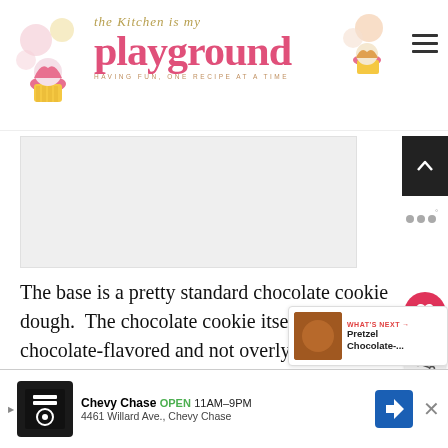the Kitchen is my playground — HAVING FUN, ONE RECIPE AT A TIME
[Figure (screenshot): Advertisement gray box area]
The base is a pretty standard chocolate cookie dough.  The chocolate cookie itself is strongly chocolate-flavored and not overly sweet, which very nicely compliments the pecans and sweetness of the caramel.
Whi...
[Figure (infographic): WHAT'S NEXT → Pretzel Chocolate-...]
[Figure (screenshot): Chevy Chase ad banner: OPEN 11AM-9PM, 4461 Willard Ave., Chevy Chase]